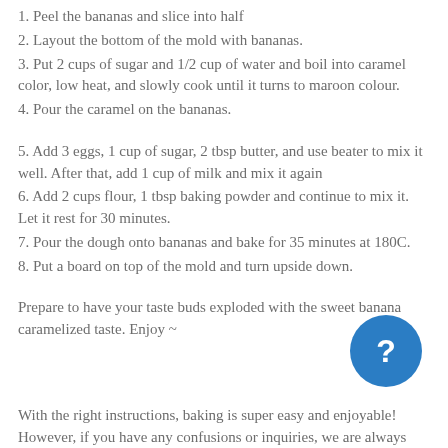1. Peel the bananas and slice into half
2. Layout the bottom of the mold with bananas.
3. Put 2 cups of sugar and 1/2 cup of water and boil into caramel color, low heat, and slowly cook until it turns to maroon colour.
4. Pour the caramel on the bananas.
5. Add 3 eggs, 1 cup of sugar, 2 tbsp butter, and use beater to mix it well. After that, add 1 cup of milk and mix it again
6. Add 2 cups flour, 1 tbsp baking powder and continue to mix it. Let it rest for 30 minutes.
7. Pour the dough onto bananas and bake for 35 minutes at 180C.
8. Put a board on top of the mold and turn upside down.
Prepare to have your taste buds exploded with the sweet banana caramelized taste. Enjoy ~
With the right instructions, baking is super easy and enjoyable! However, if you have any confusions or inquiries, we are always